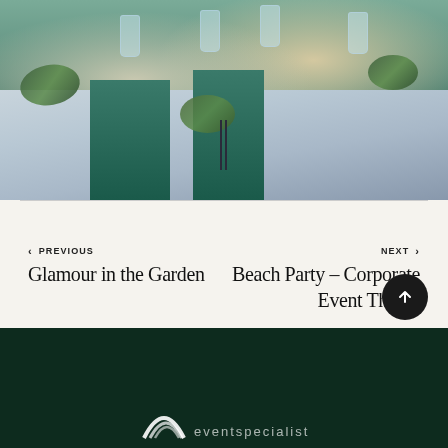[Figure (photo): Elegantly set round dining table with teal/dark green napkins on a light blue-grey tablecloth, salad plates with greens, glassware, and dark cutlery arranged for a formal event.]
< PREVIOUS
Glamour in the Garden
NEXT >
Beach Party – Corporate Event Theme
[Figure (logo): White arc/rainbow logo mark with partial text of company name on dark green footer background]